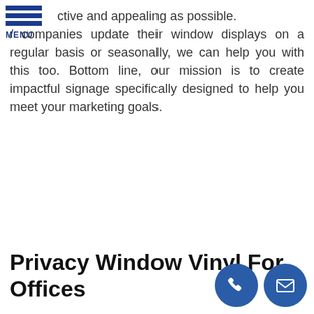MENU
ctive and appealing as possible. / companies update their window displays on a regular basis or seasonally, we can help you with this too. Bottom line, our mission is to create impactful signage specifically designed to help you meet your marketing goals.
Privacy Window Vinyl For Offices
[Figure (illustration): Two circular contact icons: a phone icon and an email/envelope icon, both on dark blue circular backgrounds, positioned in the bottom right corner.]